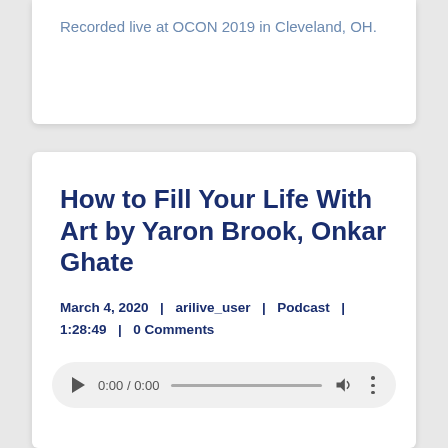Recorded live at OCON 2019 in Cleveland, OH.
How to Fill Your Life With Art by Yaron Brook, Onkar Ghate
March 4, 2020  |  arilive_user  |  Podcast  |  1:28:49  |  0 Comments
[Figure (other): Audio player widget showing 0:00 / 0:00 with play button, progress bar, volume icon, and more options icon]